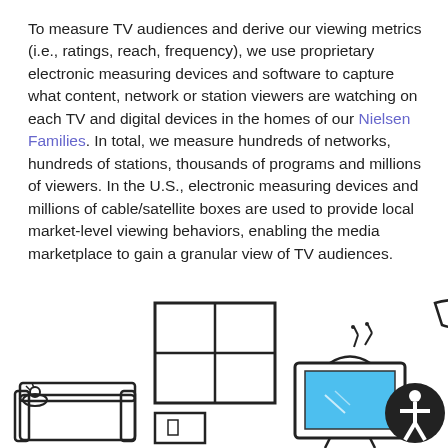To measure TV audiences and derive our viewing metrics (i.e., ratings, reach, frequency), we use proprietary electronic measuring devices and software to capture what content, network or station viewers are watching on each TV and digital devices in the homes of our Nielsen Families. In total, we measure hundreds of networks, hundreds of stations, thousands of programs and millions of viewers. In the U.S., electronic measuring devices and millions of cable/satellite boxes are used to provide local market-level viewing behaviors, enabling the media marketplace to gain a granular view of TV audiences.
[Figure (illustration): Line-art illustration of a living room scene with furniture including a sofa with a cat, a window, a TV set with blue screen and antenna sparks, a floor lamp, and seated figures — representing a Nielsen Family household. An accessibility icon button appears in the bottom right corner.]